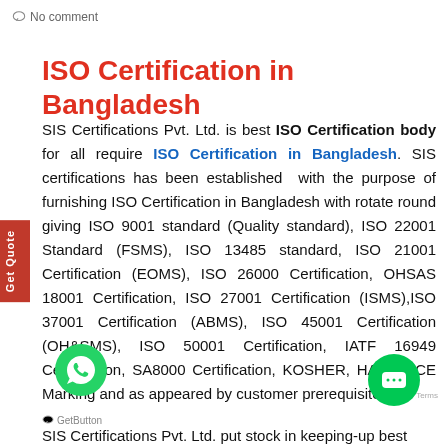No comment
ISO Certification in Bangladesh
SIS Certifications Pvt. Ltd. is best ISO Certification body for all require ISO Certification in Bangladesh. SIS certifications has been established with the purpose of furnishing ISO Certification in Bangladesh with rotate round giving ISO 9001 standard (Quality standard), ISO 22001 Standard (FSMS), ISO 13485 standard, ISO 21001 Certification (EOMS), ISO 26000 Certification, OHSAS 18001 Certification, ISO 27001 Certification (ISMS), ISO 37001 Certification (ABMS), ISO 45001 Certification (OH&SMS), ISO 50001 Certification, IATF 16949 Certification, SA8000 Certification, KOSHER, HALAL, CE Marking and as appeared by customer prerequisite.
GetButton
SIS Certifications Pvt. Ltd. put stock in keeping-up best